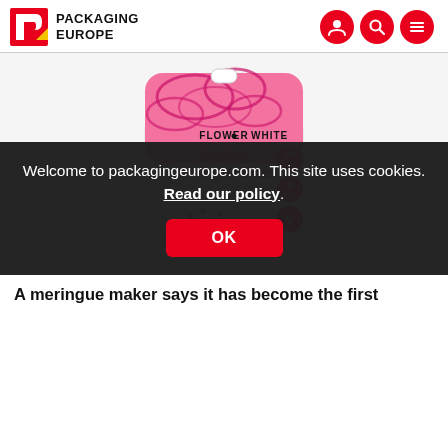Packaging Europe
[Figure (photo): Flower & White Raspberry Meringue Bites product packaging — a white stand-up pouch with pink swirl pattern on top, branded 'FLOWER & WHITE Raspberry Meringue Bites', with GF and V badges on the right side.]
Welcome to packagingeurope.com. This site uses cookies. Read our policy.
A meringue maker says it has become the first